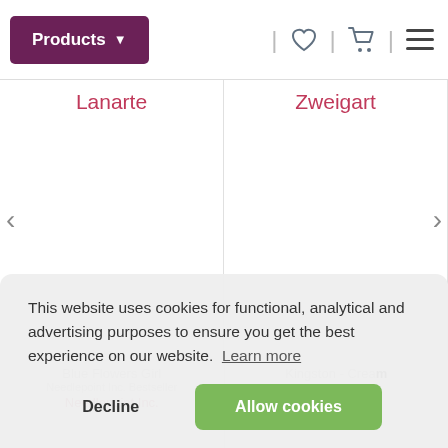Products
Lanarte
Zweigart
Blue Flowers Girl
Kingston - Cream
Needlepoint Inc. Bestseller
Needlepoint Inc.
Needlepoint Inc.
This website uses cookies for functional, analytical and advertising purposes to ensure you get the best experience on our website. Learn more
Decline
Allow cookies